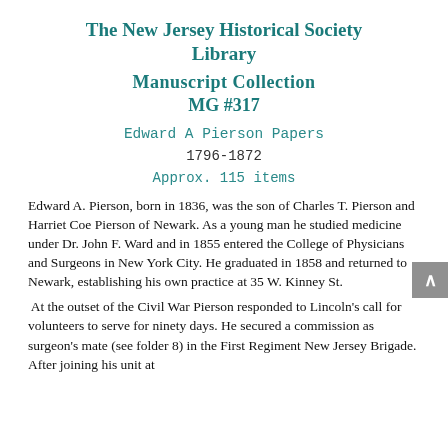The New Jersey Historical Society Library
Manuscript Collection
MG #317
Edward A Pierson Papers
1796-1872
Approx. 115 items
Edward A. Pierson, born in 1836, was the son of Charles T. Pierson and Harriet Coe Pierson of Newark. As a young man he studied medicine under Dr. John F. Ward and in 1855 entered the College of Physicians and Surgeons in New York City. He graduated in 1858 and returned to Newark, establishing his own practice at 35 W. Kinney St.
At the outset of the Civil War Pierson responded to Lincoln's call for volunteers to serve for ninety days. He secured a commission as surgeon's mate (see folder 8) in the First Regiment New Jersey Brigade. After joining his unit at